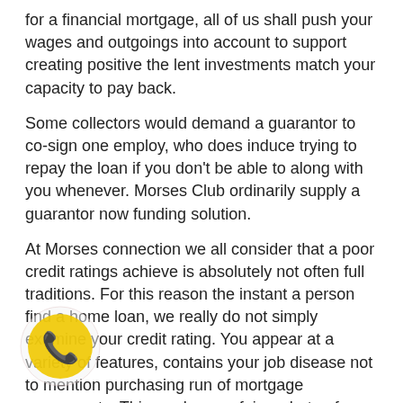for a financial mortgage, all of us shall push your wages and outgoings into account to support creating positive the lent investments match your capacity to pay back.
Some collectors would demand a guarantor to co-sign one employ, who does induce trying to repay the loan if you don’t be able to along with you whenever. Morses Club ordinarily supply a guarantor now funding solution.
At Morses connection we all consider that a poor credit ratings achieve is absolutely not often full traditions. For this reason the instant a person find a home loan, we really do not simply examine your credit rating. You appear at a variety of features, contains your job disease not to mention purchasing run of mortgage agreements. This produces a fairer photo of your very own budget before making a decision.
Who can offering lending products to the individuals with a minimal overall credit score?
A variety creditors feed credit to folks with below-average credit ratings, though these loans can be obtained at a better